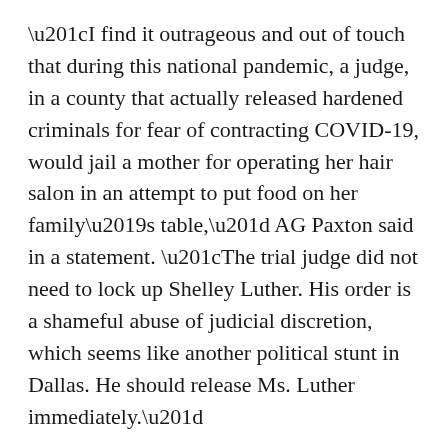“I find it outrageous and out of touch that during this national pandemic, a judge, in a county that actually released hardened criminals for fear of contracting COVID-19, would jail a mother for operating her hair salon in an attempt to put food on her family’s table,” AG Paxton said in a statement. “The trial judge did not need to lock up Shelley Luther. His order is a shameful abuse of judicial discretion, which seems like another political stunt in Dallas. He should release Ms. Luther immediately.”
But Judge Moye and Dallas County judges collectively fired back at the attorney general, saying, in a letter, that his statements go against the Texas code of judicial conduct. Adding, “in this context, for you to ‘Urge’ a Judge towards a particular substantive